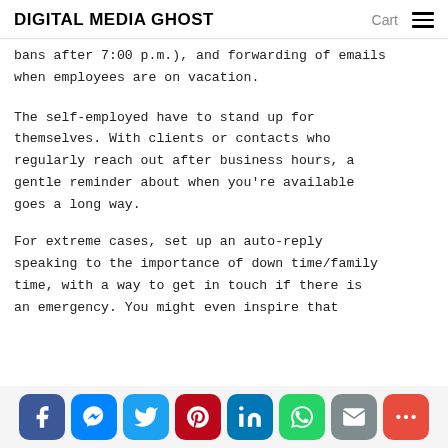DIGITAL MEDIA GHOST    Cart  ≡
bans after 7:00 p.m.), and forwarding of emails when employees are on vacation.
The self-employed have to stand up for themselves. With clients or contacts who regularly reach out after business hours, a gentle reminder about when you're available goes a long way.
For extreme cases, set up an auto-reply speaking to the importance of down time/family time, with a way to get in touch if there is an emergency. You might even inspire that
Facebook  Messenger  Twitter  Pinterest  LinkedIn  WhatsApp  Email  More